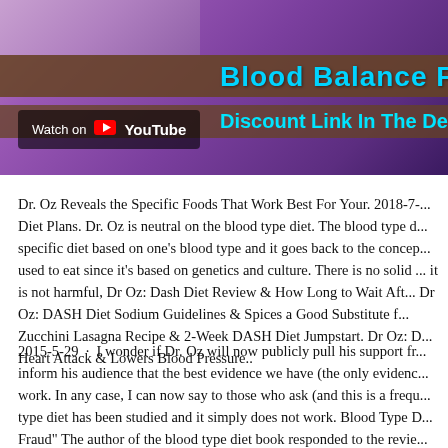[Figure (screenshot): YouTube video thumbnail showing 'Blood Balance Formula' with 'Discount Link In The Description B...' subtitle, with Watch on YouTube badge overlay. Purple/brown background with person visible.]
Dr. Oz Reveals the Specific Foods That Work Best For Your. 2018-7-... Diet Plans. Dr. Oz is neutral on the blood type diet. The blood type d... specific diet based on one's blood type and it goes back to the concep... used to eat since it's based on genetics and culture. There is no solid ... it is not harmful, Dr Oz: Dash Diet Review & How Long to Wait Aft... Dr Oz: DASH Diet Sodium Guidelines & Spices a Good Substitute f... Zucchini Lasagna Recipe & 2-Week DASH Diet Jumpstart. Dr Oz: D... Heart Attack & Lowers Blood Pressure..
2015-5-29 · I wonder if Dr. Oz will now publicly pull his support fr... inform his audience that the best evidence we have (the only evidenc... work. In any case, I can now say to those who ask (and this is a frequ... type diet has been studied and it simply does not work. Blood Type D... Fraud" The author of the blood type diet book responded to the revie...